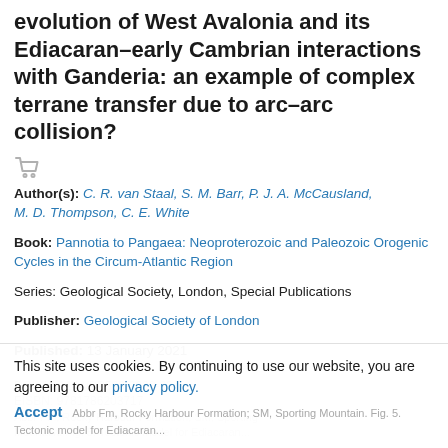evolution of West Avalonia and its Ediacaran–early Cambrian interactions with Ganderia: an example of complex terrane transfer due to arc–arc collision?
[Figure (other): Shopping cart icon]
Author(s): C. R. van Staal, S. M. Barr, P. J. A. McCausland, M. D. Thompson, C. E. White
Book: Pannotia to Pangaea: Neoproterozoic and Paleozoic Orogenic Cycles in the Circum-Atlantic Region
Series: Geological Society, London, Special Publications
Publisher: Geological Society of London
Published: 13 January 2021
DOI: 10.1144/SP503-2020-23
EISBN: 9781786203717
This site uses cookies. By continuing to use our website, you are agreeing to our privacy policy. Accept
Abbr Fm, Rocky Harbour Formation; SM, Sporting Mountain. Fig. 5. Tectonic model for Ediacaran...